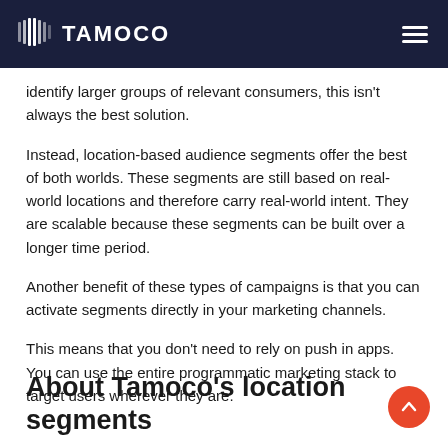TAMOCO
identify larger groups of relevant consumers, this isn’t always the best solution.
Instead, location-based audience segments offer the best of both worlds. These segments are still based on real-world locations and therefore carry real-world intent. They are scalable because these segments can be built over a longer time period.
Another benefit of these types of campaigns is that you can activate segments directly in your marketing channels.
This means that you don’t need to rely on push in apps. You can use the entire programmatic marketing stack to target users wherever they are.
About Tamoco’s location segments